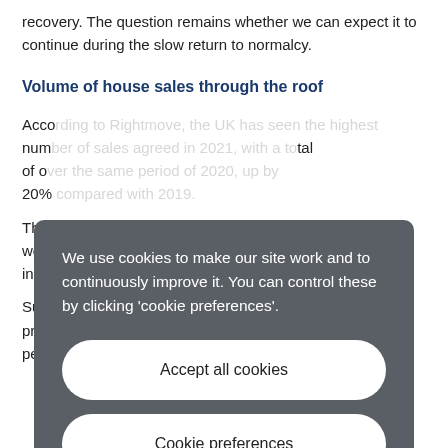recovery. The question remains whether we can expect it to continue during the slow return to normalcy.
Volume of house sales through the roof
According to Rightmove, the UK has seen the highest number of sales agreed in 2021 with a total of over 20%...
The... last week... ek in 2...
Sup... prop... me period last year, albeit with large regional differences.
[Figure (screenshot): Cookie consent dialog overlay with dark grey background. Contains text: 'We use cookies to make our site work and to continuously improve it. You can control these by clicking cookie preferences.' Two white rounded buttons: 'Accept all cookies' and 'Cookie preferences'.]